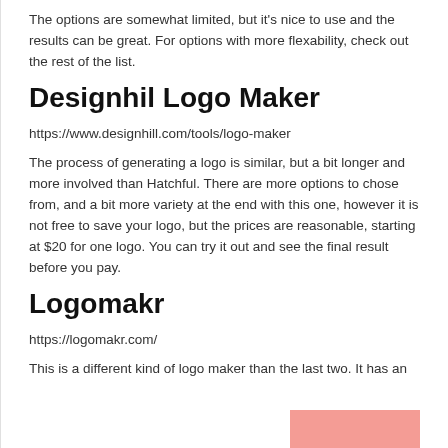The options are somewhat limited, but it's nice to use and the results can be great. For options with more flexability, check out the rest of the list.
Designhil Logo Maker
https://www.designhill.com/tools/logo-maker
The process of generating a logo is similar, but a bit longer and more involved than Hatchful. There are more options to chose from, and a bit more variety at the end with this one, however it is not free to save your logo, but the prices are reasonable, starting at $20 for one logo. You can try it out and see the final result before you pay.
Logomakr
https://logomakr.com/
This is a different kind of logo maker than the last two. It has an